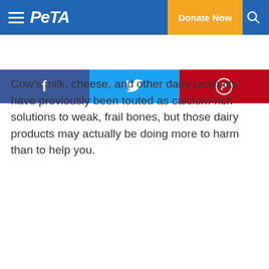PETA — Donate Now
[Figure (screenshot): Social media share buttons: Facebook (blue), Twitter (light blue), Pinterest (red)]
Cow's milk, cheese, and other dairy products have previously been touted as calcium-rich solutions to weak, frail bones, but those dairy products may actually be doing more to harm than to help you.
[Figure (screenshot): YouTube age-restricted video embed with message: 'This video is age-restricted and only available on YouTube. Learn more. Watch on YouTube.']